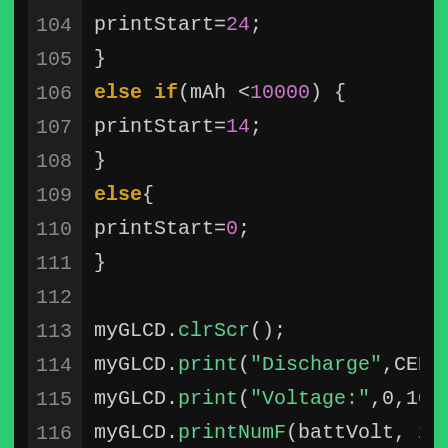[Figure (screenshot): Code editor screenshot showing lines 104-116 of source code with syntax highlighting on a dark background. Lines show printStart assignments and myGLCD method calls.]